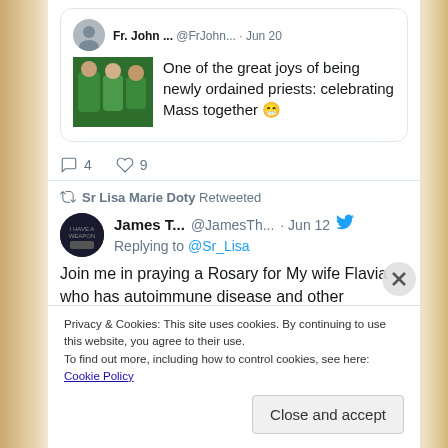[Figure (screenshot): Twitter/social media screenshot showing two tweets. First tweet by Fr. John... @FrJohn... Jun 20 with image of priests in green vestments: 'One of the great joys of being newly ordained priests: celebrating Mass together 😁'. Second tweet retweeted by Sr Lisa Marie Doty: James T... @JamesTh... Jun 12 replying to @Sr_Lisa: 'Join me in praying a Rosary for My wife Flavia who has autoimmune disease and other infirmaries. And My son Noah who...' A cookie consent banner is overlaid at the bottom: 'Privacy & Cookies: This site uses cookies. By continuing to use this website, you agree to their use. To find out more, including how to control cookies, see here: Cookie Policy' with a Close and accept button.]